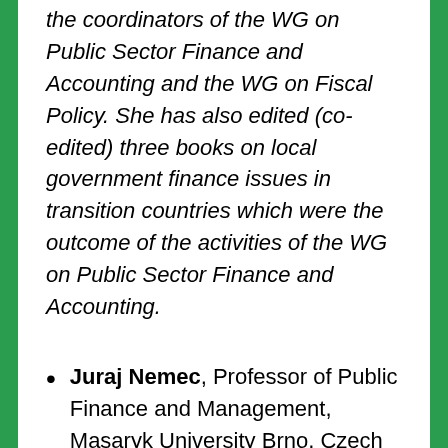the coordinators of the WG on Public Sector Finance and Accounting and the WG on Fiscal Policy. She has also edited (co-edited) three books on local government finance issues in transition countries which were the outcome of the activities of the WG on Public Sector Finance and Accounting.
Juraj Nemec, Professor of Public Finance and Management, Masaryk University Brno, Czech Republic and Matej Bel University Banska...